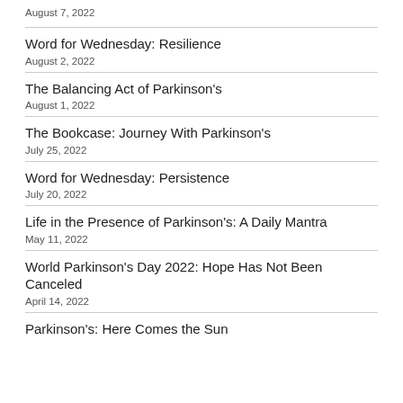August 7, 2022
Word for Wednesday: Resilience
August 2, 2022
The Balancing Act of Parkinson's
August 1, 2022
The Bookcase: Journey With Parkinson's
July 25, 2022
Word for Wednesday: Persistence
July 20, 2022
Life in the Presence of Parkinson's: A Daily Mantra
May 11, 2022
World Parkinson's Day 2022: Hope Has Not Been Canceled
April 14, 2022
Parkinson's: Here Comes the Sun